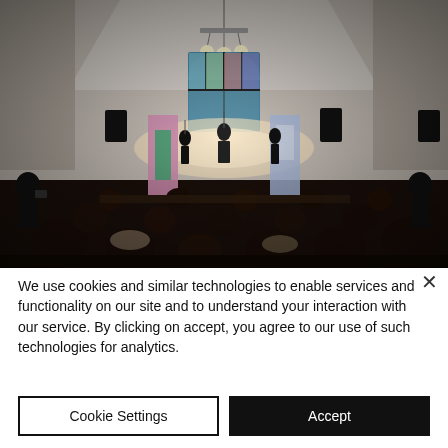[Figure (photo): Indoor concert or performance in a church-like venue with arched ceiling, stained glass window, pendant lights, performers on a lit stage, and a seated audience in the foreground.]
We use cookies and similar technologies to enable services and functionality on our site and to understand your interaction with our service. By clicking on accept, you agree to our use of such technologies for analytics.
Cookie Settings
Accept